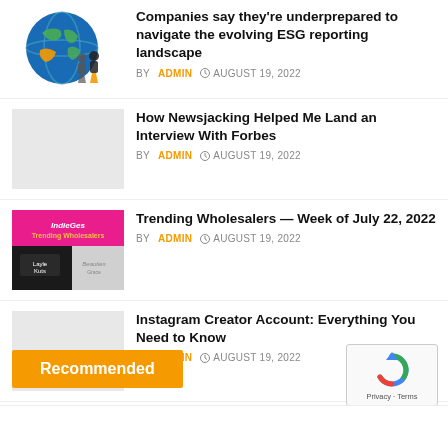Companies say they’re underprepared to navigate the evolving ESG reporting landscape — BY ADMIN — AUGUST 19, 2022
How Newsjacking Helped Me Land an Interview With Forbes — BY ADMIN — AUGUST 19, 2022
Trending Wholesalers — Week of July 22, 2022 — BY ADMIN — AUGUST 19, 2022
Instagram Creator Account: Everything You Need to Know — BY ADMIN — AUGUST 19, 2022
Recommended
[Figure (logo): reCAPTCHA logo with Privacy and Terms text]